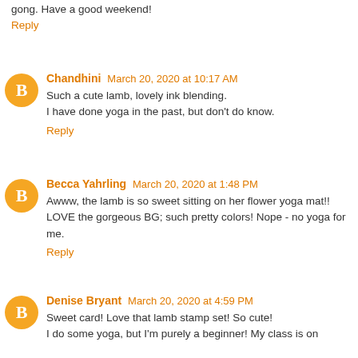gong. Have a good weekend!
Reply
Chandhini March 20, 2020 at 10:17 AM
Such a cute lamb, lovely ink blending.
I have done yoga in the past, but don't do know.
Reply
Becca Yahrling March 20, 2020 at 1:48 PM
Awww, the lamb is so sweet sitting on her flower yoga mat!! LOVE the gorgeous BG; such pretty colors! Nope - no yoga for me.
Reply
Denise Bryant March 20, 2020 at 4:59 PM
Sweet card! Love that lamb stamp set! So cute!
I do some yoga, but I'm purely a beginner! My class is on